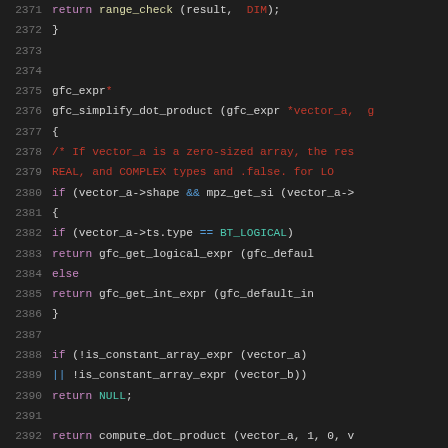[Figure (screenshot): Source code listing in a dark-themed IDE/editor showing C code for gfc_simplify_dot_product function, lines 2371-2392]